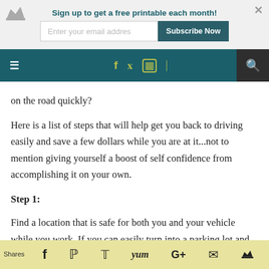Sign up to get a free printable each month!
[Figure (screenshot): Navigation bar with hamburger menu, social icons (f, twitter, instagram, RSS), and search icon on dark teal background]
on the road quickly?
Here is a list of steps that will help get you back to driving easily and save a few dollars while you are at it...not to mention giving yourself a boost of self confidence from accomplishing it on your own.
Step 1:
Find a location that is safe for both you and your vehicle while you work. If you can easily turn into a parking lot and off the road, go for
Shares  [social share icons: facebook, pinterest, twitter, yum, google+, email, crown]